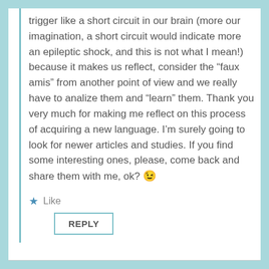trigger like a short circuit in our brain (more our imagination, a short circuit would indicate more an epileptic shock, and this is not what I mean!) because it makes us reflect, consider the “faux amis” from another point of view and we really have to analize them and “learn” them. Thank you very much for making me reflect on this process of acquiring a new language. I’m surely going to look for newer articles and studies. If you find some interesting ones, please, come back and share them with me, ok? 😉
Like
REPLY